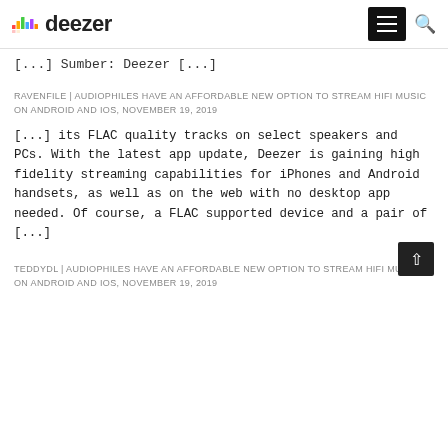deezer
[...] Sumber: Deezer [...]
RAVENFILE | AUDIOPHILES HAVE AN AFFORDABLE NEW OPTION TO STREAM HIFI MUSIC ON ANDROID AND IOS, NOVEMBER 19, 2019
[...] its FLAC quality tracks on select speakers and PCs. With the latest app update, Deezer is gaining high fidelity streaming capabilities for iPhones and Android handsets, as well as on the web with no desktop app needed. Of course, a FLAC supported device and a pair of [...]
TEDDYDL | AUDIOPHILES HAVE AN AFFORDABLE NEW OPTION TO STREAM HIFI MUSIC ON ANDROID AND IOS, NOVEMBER 19, 2019